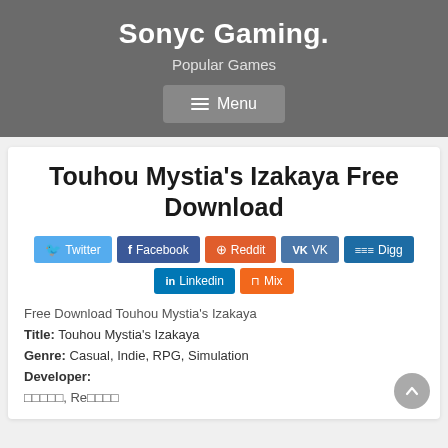Sonyc Gaming.
Popular Games
Menu
Touhou Mystia's Izakaya Free Download
[Figure (other): Social share buttons: Twitter, Facebook, Reddit, VK, Digg, Linkedin, Mix]
Free Download Touhou Mystia's Izakaya
Title: Touhou Mystia's Izakaya
Genre: Casual, Indie, RPG, Simulation
Developer:
□□□□□, Re□□□□